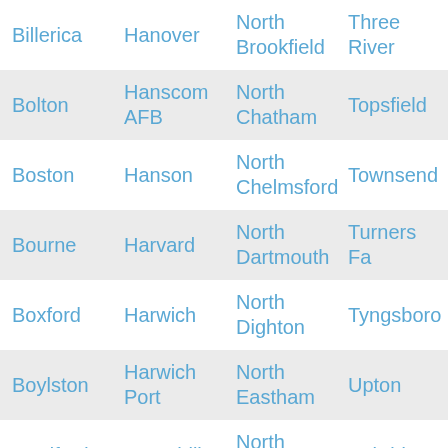| Billerica | Hanover | North Brookfield | Three Rivers |
| Bolton | Hanscom AFB | North Chatham | Topsfield |
| Boston | Hanson | North Chelmsford | Townsend |
| Bourne | Harvard | North Dartmouth | Turners Falls |
| Boxford | Harwich | North Dighton | Tyngsboro |
| Boylston | Harwich Port | North Eastham | Upton |
| Bradford | Haverhill | North Easton | Uxbridge |
| Braintree | Haydenville | North Falmouth | Vineyard |